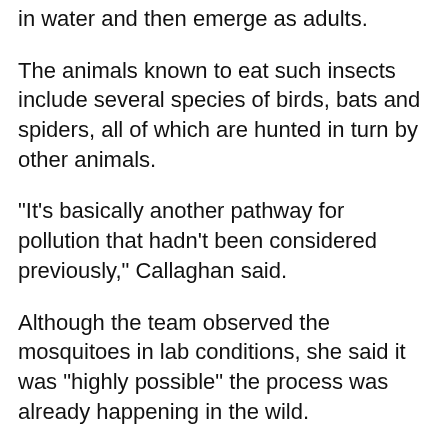in water and then emerge as adults.
The animals known to eat such insects include several species of birds, bats and spiders, all of which are hunted in turn by other animals.
"It's basically another pathway for pollution that hadn't been considered previously," Callaghan said.
Although the team observed the mosquitoes in lab conditions, she said it was "highly possible" the process was already happening in the wild.
Several countries, including Britain, have banned products containing microbeads, but Callaghan said the scale of the problem was still being discovered.
"It's a major problem, and those plastics already in